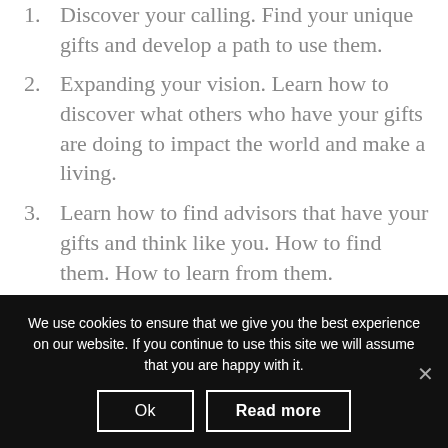1. Discover your calling. Find your unique gifts and develop a path to use them.
2. Expanding your vision. Learn how to discover what others who have your gifts are doing to impact the world and make a living.
3. Learn how to find advisors that have your gifts and think like you. How to find them. How to learn from them.
4. Learn how to use tools like LinkedIn to grow your influence.
5. Once you have a path, you will learn how to
We use cookies to ensure that we give you the best experience on our website. If you continue to use this site we will assume that you are happy with it.